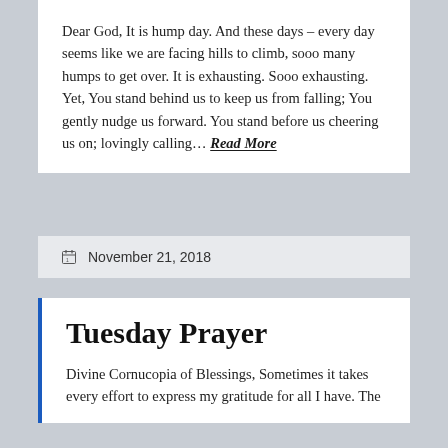Dear God, It is hump day. And these days – every day seems like we are facing hills to climb, sooo many humps to get over. It is exhausting. Sooo exhausting. Yet, You stand behind us to keep us from falling; You gently nudge us forward. You stand before us cheering us on; lovingly calling… Read More
November 21, 2018
Tuesday Prayer
Divine Cornucopia of Blessings, Sometimes it takes every effort to express my gratitude for all I have. The